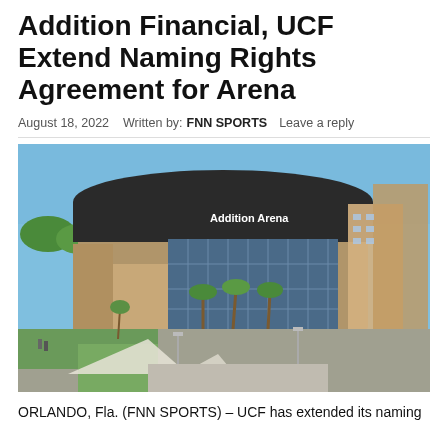Addition Financial, UCF Extend Naming Rights Agreement for Arena
August 18, 2022   Written by: FNN SPORTS   Leave a reply
[Figure (photo): Aerial/elevated exterior photo of Addition Arena at UCF, showing the large curved-roof arena building with 'Addition Arena' signage, surrounded by palm trees, plazas, and adjacent buildings under a clear blue sky.]
ORLANDO, Fla. (FNN SPORTS) – UCF has extended its naming